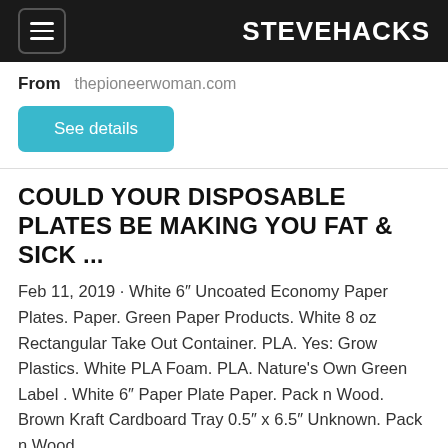STEVEHACKS
From   thepioneerwoman.com
See details
COULD YOUR DISPOSABLE PLATES BE MAKING YOU FAT & SICK ...
Feb 11, 2019 · White 6″ Uncoated Economy Paper Plates. Paper. Green Paper Products. White 8 oz Rectangular Take Out Container. PLA. Yes: Grow Plastics. White PLA Foam. PLA. Nature's Own Green Label . White 6″ Paper Plate Paper. Pack n Wood. Brown Kraft Cardboard Tray 0.5″ x 6.5″ Unknown. Pack n Wood…
From   mamavation.com
See details